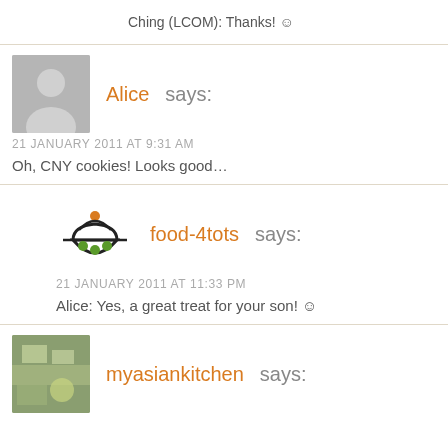Ching (LCOM): Thanks! ☺
Alice says:
21 JANUARY 2011 AT 9:31 AM
Oh, CNY cookies! Looks good…
food-4tots says:
21 JANUARY 2011 AT 11:33 PM
Alice: Yes, a great treat for your son! ☺
myasiankitchen says: